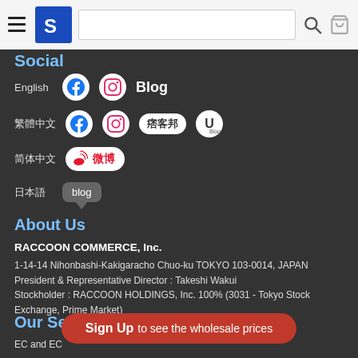[Navigation bar with hamburger menu, S logo, search bar, search icon, cart icon]
Social
English — Facebook, Instagram, Blog
繁體中文 — Facebook, Instagram, 痞客邦, UBlog
简体中文 — 微博
日本語 — blog
About Us
RACCOON COMMERCE, Inc.
1-14-14 Nihonbashi-Kakigaracho Chuo-ku TOKYO 103-0014, JAPAN
President & Representative Director : Takeshi Wakui
Stockholder : RACCOON HOLDINGS, Inc. 100% (3031 - Tokyo Stock Exchange, Prime Market)
Our Services
EC and EC
Sign Up to see the wholesale prices